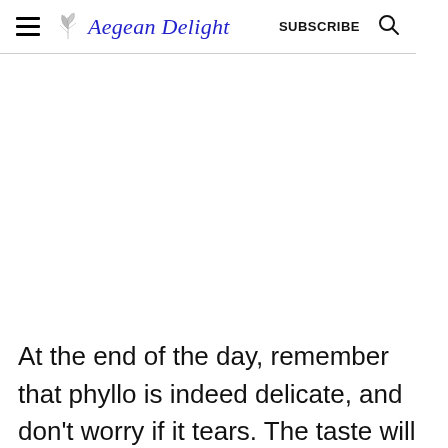Aegean Delight | SUBSCRIBE
[Figure (illustration): White blank space where an image would appear]
At the end of the day, remember that phyllo is indeed delicate, and don't worry if it tears. The taste will not be affected